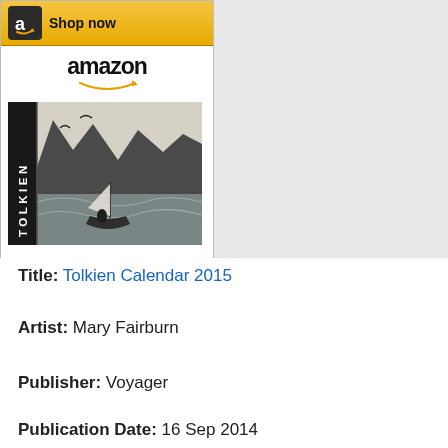[Figure (screenshot): Amazon advertisement widget showing the Tolkien Calendar 2015 book. Top 'Shop now' button with Amazon 'a' logo in black square on gold/yellow background. Amazon wordmark with orange smile arrow below. Book cover image showing 'Tolkien' text vertically on spine and a black-and-white illustration of a boat on stormy seas with cliffs. Book title 'Tolkien Calendar 2015' in blue link text. Bottom 'Shop now' button on gold/yellow background.]
Title: Tolkien Calendar 2015
Artist: Mary Fairburn
Publisher: Voyager
Publication Date: 16 Sep 2014